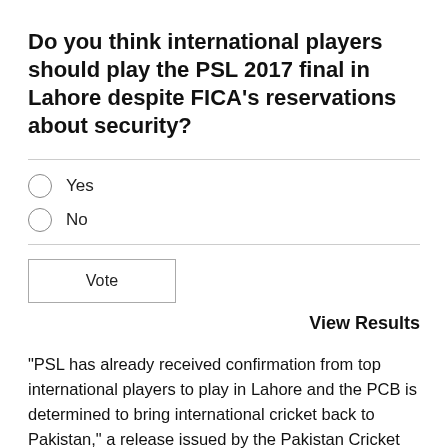Do you think international players should play the PSL 2017 final in Lahore despite FICA's reservations about security?
Yes
No
View Results
"PSL has already received confirmation from top international players to play in Lahore and the PCB is determined to bring international cricket back to Pakistan," a release issued by the Pakistan Cricket Board (PSB) had said.
According to PSL officials, PCB has assured foreign players that